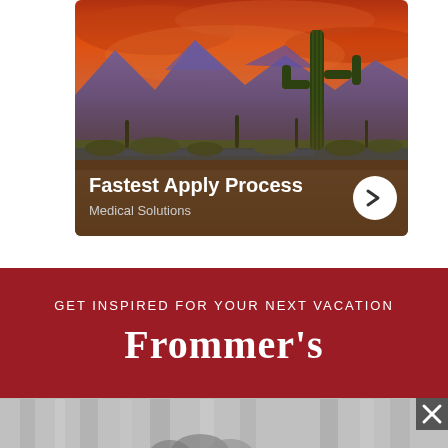[Figure (photo): Advertisement banner showing desert landscape with saguaro cactus and orange sunset sky, with text overlay 'Fastest Apply Process' and 'Medical Solutions' on a brown background with white arrow button]
[Figure (infographic): Frommer's travel brand banner with dark red background, text 'GET INSPIRED FOR YOUR NEXT VACATION' and large 'Frommer's' logo in white serif font]
[Figure (photo): Partial grayscale photo of people, partially cut off at the bottom of the page, with a close/dismiss button (X) in the top right corner]